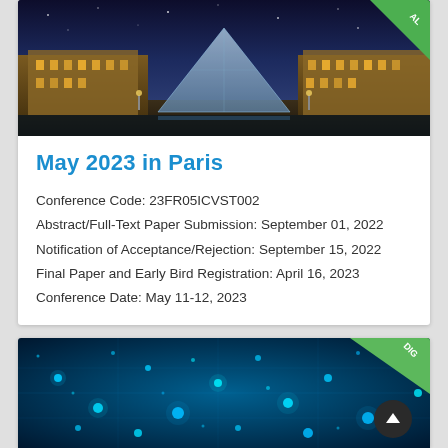[Figure (photo): Aerial night photo of the Louvre museum in Paris with the glass pyramid illuminated]
May 2023 in Paris
Conference Code: 23FR05ICVST002
Abstract/Full-Text Paper Submission: September 01, 2022
Notification of Acceptance/Rejection: September 15, 2022
Final Paper and Early Bird Registration: April 16, 2023
Conference Date: May 11-12, 2023
[Figure (photo): Abstract blue digital network background with glowing light particles]